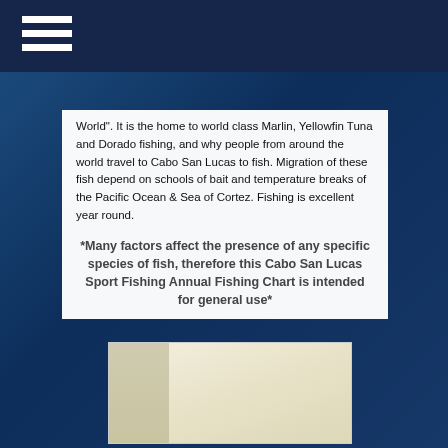World".  It is the home to world class Marlin, Yellowfin Tuna and Dorado fishing, and why people from around the world travel to Cabo San Lucas to fish. Migration of these fish depend on schools of bait and temperature breaks of the Pacific Ocean & Sea of Cortez. Fishing is excellent year round.
*Many factors affect the presence of any specific species of fish, therefore this Cabo San Lucas Sport Fishing Annual Fishing Chart is intended for general use*
[Figure (other): Partially visible image, likely a fishing chart table, shown at the bottom of the page with a light beige/cream background.]